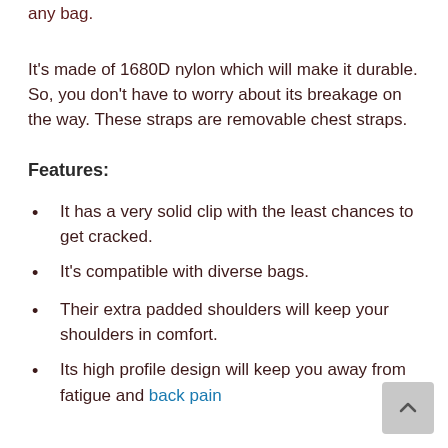any bag.
It's made of 1680D nylon which will make it durable. So, you don't have to worry about its breakage on the way. These straps are removable chest straps.
Features:
It has a very solid clip with the least chances to get cracked.
It's compatible with diverse bags.
Their extra padded shoulders will keep your shoulders in comfort.
Its high profile design will keep you away from fatigue and back pain